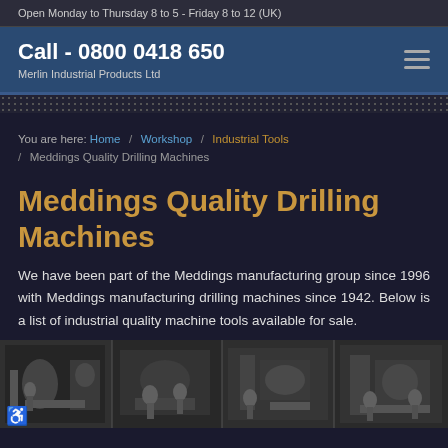Open Monday to Thursday 8 to 5 - Friday 8 to 12 (UK)
Call - 0800 0418 650
Merlin Industrial Products Ltd
You are here: Home / Workshop / Industrial Tools / Meddings Quality Drilling Machines
Meddings Quality Drilling Machines
We have been part of the Meddings manufacturing group since 1996 with Meddings manufacturing drilling machines since 1942.  Below is a list of industrial quality machine tools available for sale.
[Figure (photo): Black and white photo strip showing industrial drilling machines and workers in a factory setting]